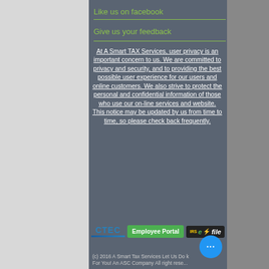Like us on facebook
Give us your feedback
At A Smart TAX Services, user privacy is an important concern to us. We are committed to privacy and security, and to providing the best possible user experience for our users and online customers. We also strive to protect the personal and confidential information of those who use our on-line services and website. This notice may be updated by us from time to time, so please check back frequently.
[Figure (logo): CTEC logo, Employee Portal button, IRS e-file logo]
(c) 2016 A Smart Tax Services Let Us Do k For You! An ASC Company All right rese...